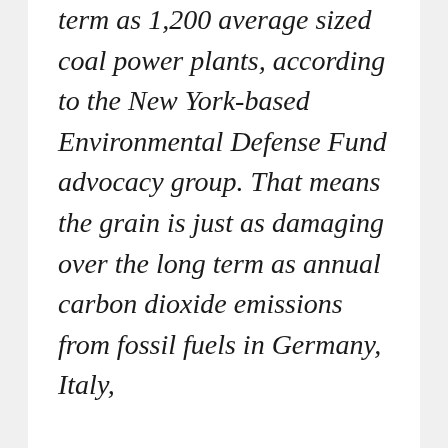term as 1,200 average sized coal power plants, according to the New York-based Environmental Defense Fund advocacy group. That means the grain is just as damaging over the long term as annual carbon dioxide emissions from fossil fuels in Germany, Italy,